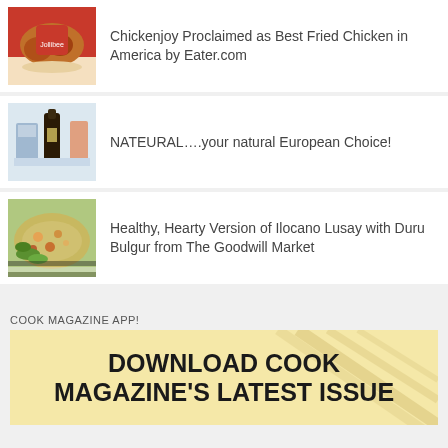[Figure (photo): Fried chicken in a red bucket on a tray]
Chickenjoy Proclaimed as Best Fried Chicken in America by Eater.com
[Figure (photo): Olive oil bottle and other products on a white background]
NATEURAL….your natural European Choice!
[Figure (photo): Healthy grain salad with vegetables]
Healthy, Hearty Version of Ilocano Lusay with Duru Bulgur from The Goodwill Market
COOK MAGAZINE APP!
[Figure (illustration): Promotional banner: Download Cook Magazine's Latest Issue]